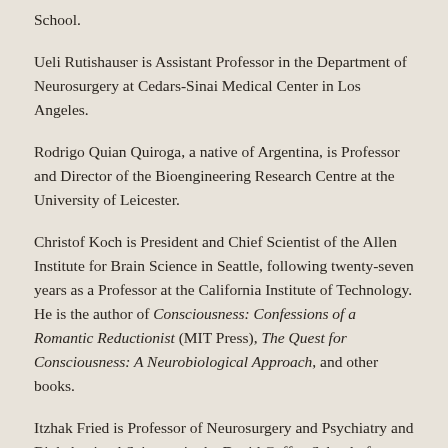School.
Ueli Rutishauser is Assistant Professor in the Department of Neurosurgery at Cedars-Sinai Medical Center in Los Angeles.
Rodrigo Quian Quiroga, a native of Argentina, is Professor and Director of the Bioengineering Research Centre at the University of Leicester.
Christof Koch is President and Chief Scientist of the Allen Institute for Brain Science in Seattle, following twenty-seven years as a Professor at the California Institute of Technology. He is the author of Consciousness: Confessions of a Romantic Reductionist (MIT Press), The Quest for Consciousness: A Neurobiological Approach, and other books.
Itzhak Fried is Professor of Neurosurgery and Psychiatry and Biobehavioral Sciences in the David Geffen School of Medicine at UCLA and Professor of Neurosurgery at Tel-Aviv Medical Center and Tel Aviv University's Sackler Faculty of Medicine.